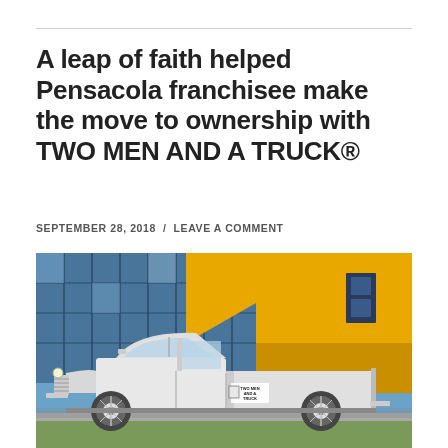A leap of faith helped Pensacola franchisee make the move to ownership with TWO MEN AND A TRUCK®
SEPTEMBER 28, 2018  /  LEAVE A COMMENT
[Figure (photo): A vintage white TWO MEN AND A TRUCK pickup truck parked in front of a modern yellow and blue building with large glass windows.]